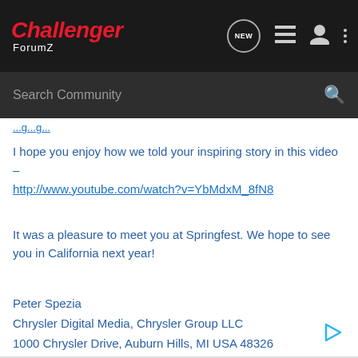[Figure (screenshot): Challenger ForumZ website navigation bar with logo, NEW chat bubble, list icon, user icon, and dots menu icon on dark background]
Search Community
I hope you enjoy how we told your inspiring story in this video – http://www.youtube.com/watch?v=YbMdxM_8fN8
It was a pleasure to meet you at Springfest. We hope to see you in California next year!
Peter Spezia
Chrysler Digital Media, Chrysler Group LLC
1000 Chrysler Drive, Auburn Hills, MI USA 48326